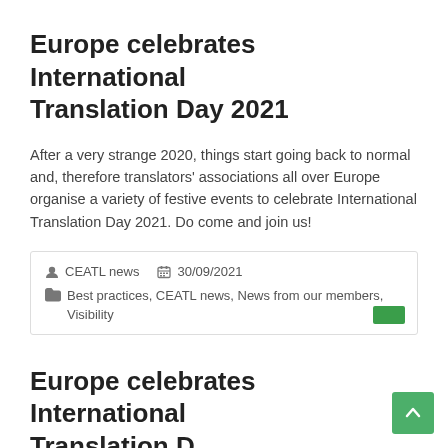Europe celebrates International Translation Day 2021
After a very strange 2020, things start going back to normal and, therefore translators' associations all over Europe organise a variety of festive events to celebrate International Translation Day 2021. Do come and join us!
CEATL news  30/09/2021  Best practices, CEATL news, News from our members, Visibility
Europe celebrates International Translation D...